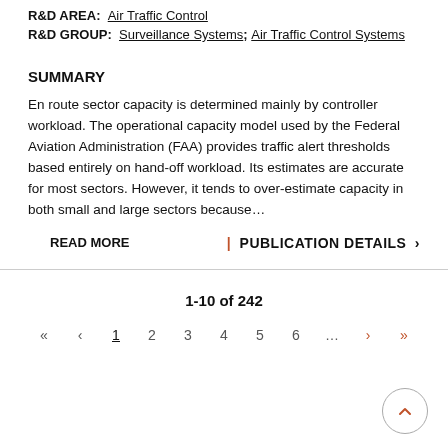R&D AREA: Air Traffic Control
R&D GROUP: Surveillance Systems; Air Traffic Control Systems
SUMMARY
En route sector capacity is determined mainly by controller workload. The operational capacity model used by the Federal Aviation Administration (FAA) provides traffic alert thresholds based entirely on hand-off workload. Its estimates are accurate for most sectors. However, it tends to over-estimate capacity in both small and large sectors because…
READ MORE
| PUBLICATION DETAILS >
1-10 of 242
« ‹ 1 2 3 4 5 6 … › »